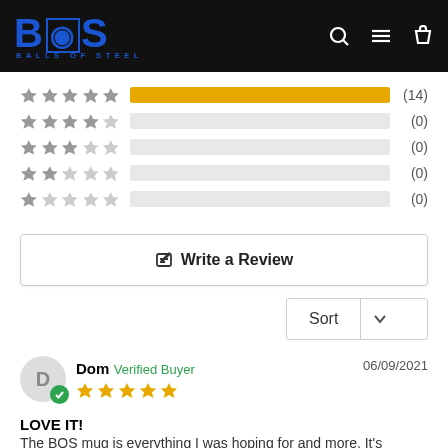[Figure (logo): Balls of Steel (BOS) logo in blue on black header background, with search, menu, and cart icons on the right]
[Figure (infographic): Star rating breakdown: 5 stars (14 reviews, full yellow bar), 4 stars (0, empty bar), 3 stars (0, empty bar), 2 stars (0, empty bar), 1 star (0, empty bar)]
✎  Write a Review
Sort
Dom  Verified Buyer  06/09/2021
LOVE IT!
The BOS mug is everything I was hoping for and more. It's